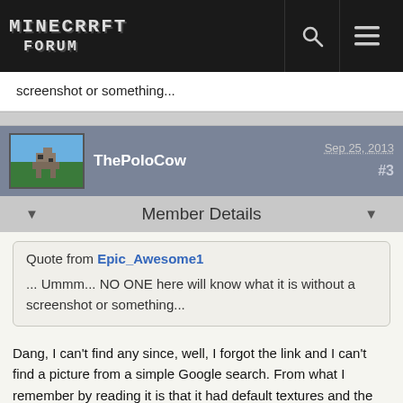Minecraft Forum
screenshot or something...
ThePoloCow  Sep 25, 2013  #3
Member Details
Quote from Epic_Awesome1

... Ummm... NO ONE here will know what it is without a screenshot or something...
Dang, I can't find any since, well, I forgot the link and I can't find a picture from a simple Google search. From what I remember by reading it is that it had default textures and the special thing about it was it's cool lighting that looked like shaders. Sorry I couldn't find a picture though.